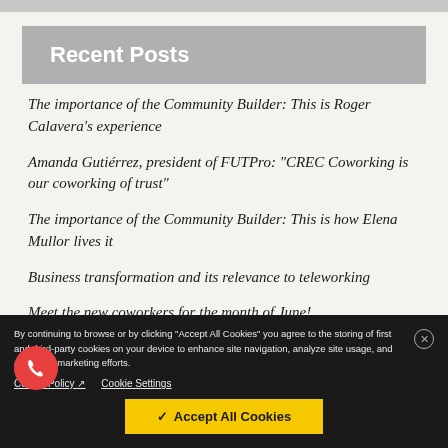Recent Posts
The importance of the Community Builder: This is Roger Calavera's experience
Amanda Gutiérrez, president of FUTPro: "CREC Coworking is our coworking of trust"
The importance of the Community Builder: This is how Elena Mullor lives it
Business transformation and its relevance to teleworking
Meet the new coworkers for the month of June!
By continuing to browse or by clicking "Accept All Cookies" you agree to the storing of first and third-party cookies on your device to enhance site navigation, analyze site usage, and assist our marketing efforts. Cookie Policy  Cookie Settings